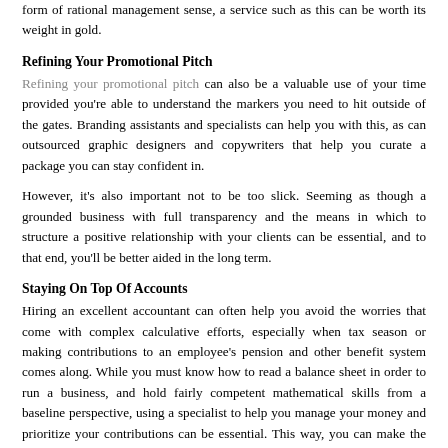form of rational management sense, a service such as this can be worth its weight in gold.
Refining Your Promotional Pitch
Refining your promotional pitch can also be a valuable use of your time provided you're able to understand the markers you need to hit outside of the gates. Branding assistants and specialists can help you with this, as can outsourced graphic designers and copywriters that help you curate a package you can stay confident in.
However, it's also important not to be too slick. Seeming as though a grounded business with full transparency and the means in which to structure a positive relationship with your clients can be essential, and to that end, you'll be better aided in the long term.
Staying On Top Of Accounts
Hiring an excellent accountant can often help you avoid the worries that come with complex calculative efforts, especially when tax season or making contributions to an employee's pension and other benefit system comes along. While you must know how to read a balance sheet in order to run a business, and hold fairly competent mathematical skills from a baseline perspective, using a specialist to help you manage your money and prioritize your contributions can be essential. This way, you can make the most of your savings and profits, and also understand the real cost or